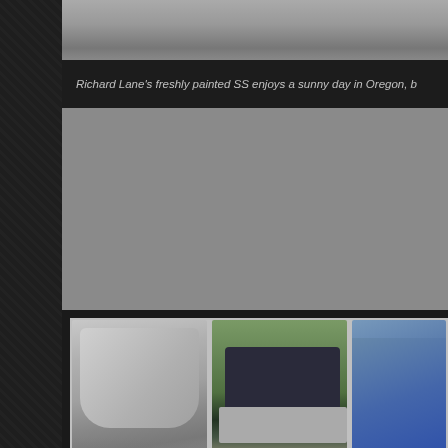[Figure (photo): Top partial image of a painted car (SS) on a sunny day in Oregon]
Richard Lane's freshly painted SS enjoys a sunny day in Oregon, b
[Figure (photo): Richard Lane's SS shown about ready for paint, gray primer, work done by Bill and Don Gillham at Hooligan Racing in Oregon]
[Figure (photo): Once painted and ready for reassembly, the SS was trailered from Oregon to California, shown arriving in Richard's hilly]
[Figure (photo): Inching the SS off the trailer was a nerve-wrapping experience - partial view of blue SS car with person in red shirt]
Richard Lane's SS shown about ready for paint. This work was done by Bill and Don Gillham, at Hooligan Racing, in Oregon.
Once painted and ready for reassembly, the SS was trailered from Oregon to California. It's shown arriving in Richard's hilly
Inching the the trailer w nerve-wra experien